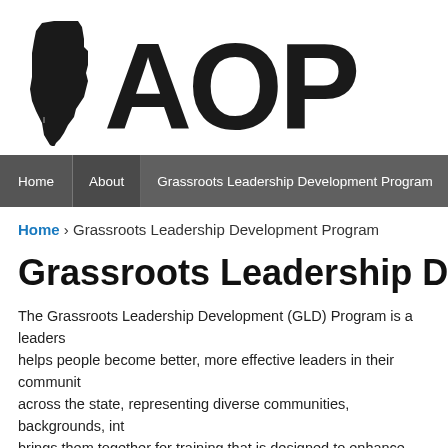[Figure (logo): Alabama AOP logo — silhouette of the state of Alabama with large bold text 'AOP' beside it]
Home | About | Grassroots Leadership Development Program | Partners
Home › Grassroots Leadership Development Program
Grassroots Leadership Develop...
The Grassroots Leadership Development (GLD) Program is a leaders... helps people become better, more effective leaders in their communit... across the state, representing diverse communities, backgrounds, int... brings them together for training that is designed to enhance their exis... and facilitate constructive work for change in communities and organi...
[Figure (photo): Interior room photo with ceiling and walls visible, warm tan/brown tones]
Who participates...
The 2013 graduates come f...